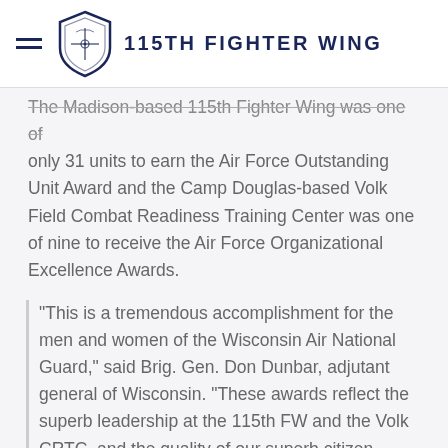115TH FIGHTER WING
The Madison-based 115th Fighter Wing was one of only 31 units to earn the Air Force Outstanding Unit Award and the Camp Douglas-based Volk Field Combat Readiness Training Center was one of nine to receive the Air Force Organizational Excellence Awards.
"This is a tremendous accomplishment for the men and women of the Wisconsin Air National Guard," said Brig. Gen. Don Dunbar, adjutant general of Wisconsin. "These awards reflect the superb leadership at the 115th FW and the Volk CRTC, and the quality of our superb citizen- Airmen. It is a privilege for us to serve."
This is the sixth AFOUA for the fighter wing. Col. Joseph Brandemuehl, 115th FW commander, said the award is in line with the wing's motto of "Dedicated to